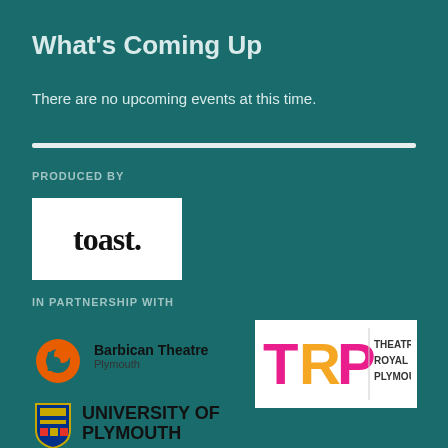What's Coming Up
There are no upcoming events at this time.
PRODUCED BY
[Figure (logo): toast. logo — black lowercase serif text 'toast.' on white background]
IN PARTNERSHIP WITH
[Figure (logo): Barbican Theatre Plymouth logo — orange circular 'b' icon with text 'Barbican Theatre Plymouth']
[Figure (logo): TRP Theatre Royal Plymouth logo — colourful TRP letters with 'THEATRE ROYAL PLYMOUTH' text on white background]
[Figure (logo): University of Plymouth logo — shield crest and bold 'UNIVERSITY OF PLYMOUTH' text]